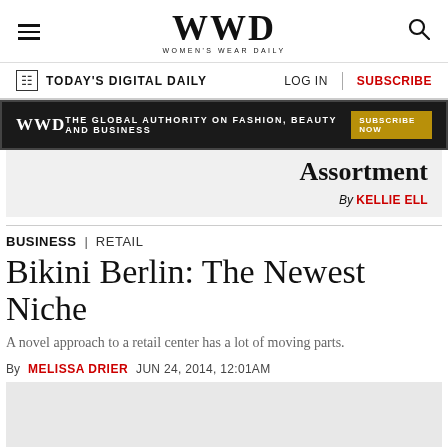WWD WOMEN'S WEAR DAILY
TODAY'S DIGITAL DAILY   LOG IN   SUBSCRIBE
WWD  THE GLOBAL AUTHORITY ON FASHION, BEAUTY AND BUSINESS  SUBSCRIBE NOW
Assortment By KELLIE ELL
BUSINESS | RETAIL
Bikini Berlin: The Newest Niche
A novel approach to a retail center has a lot of moving parts.
By MELISSA DRIER   JUN 24, 2014, 12:01AM